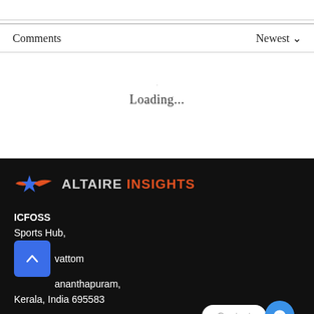Comments
Newest ∨
Loading...
ALTAIRE INSIGHTS
ICFOSS
Sports Hub,
Kariavattom
Thiruvananthapuram,
Kerala, India 695583